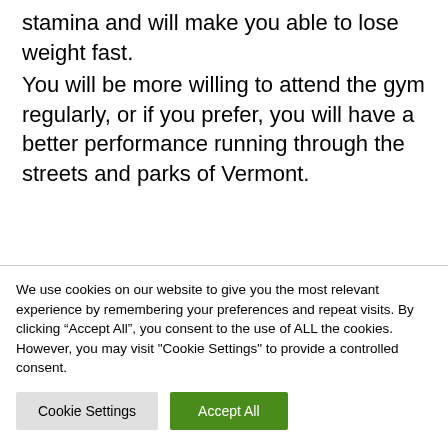stamina and will make you able to lose weight fast.
You will be more willing to attend the gym regularly, or if you prefer, you will have a better performance running through the streets and parks of Vermont.
[Figure (illustration): Partial brown cartoon animal illustration visible at the bottom before cookie banner]
We use cookies on our website to give you the most relevant experience by remembering your preferences and repeat visits. By clicking “Accept All”, you consent to the use of ALL the cookies. However, you may visit "Cookie Settings" to provide a controlled consent.
Cookie Settings  Accept All